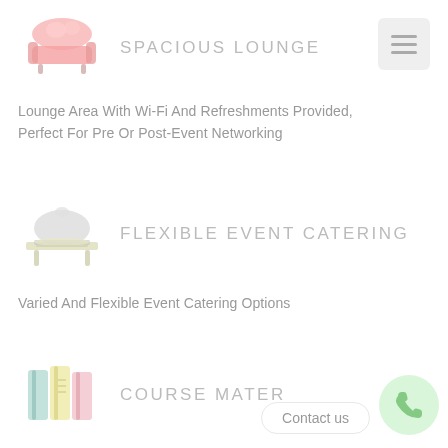[Figure (illustration): Pink sofa/couch icon illustration]
SPACIOUS LOUNGE
Lounge Area With Wi-Fi And Refreshments Provided, Perfect For Pre Or Post-Event Networking
[Figure (illustration): Room service / catering cloche icon illustration]
FLEXIBLE EVENT CATERING
Varied And Flexible Event Catering Options
[Figure (illustration): Books / course materials icon illustration]
COURSE MATER
Contact us